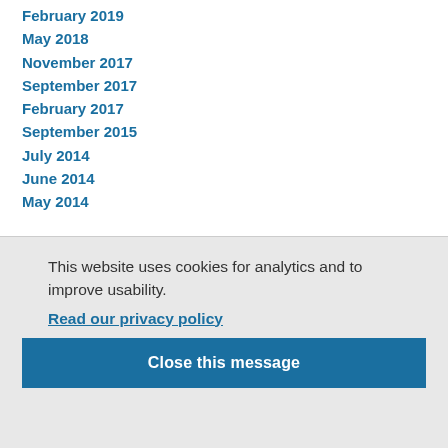February 2019
May 2018
November 2017
September 2017
February 2017
September 2015
July 2014
June 2014
May 2014
This website uses cookies for analytics and to improve usability.
Read our privacy policy
Close this message